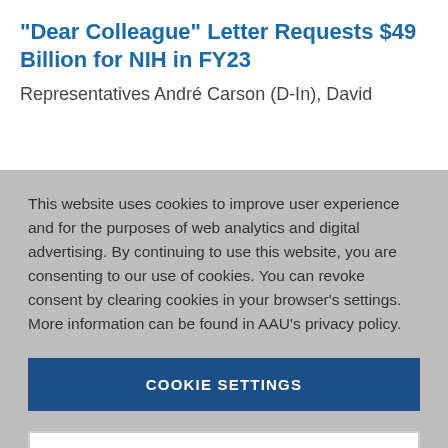“Dear Colleague” Letter Requests $49 Billion for NIH in FY23
Representatives André Carson (D-In), David
This website uses cookies to improve user experience and for the purposes of web analytics and digital advertising. By continuing to use this website, you are consenting to our use of cookies. You can revoke consent by clearing cookies in your browser’s settings. More information can be found in AAU’s privacy policy.
COOKIE SETTINGS
ACCEPT ALL